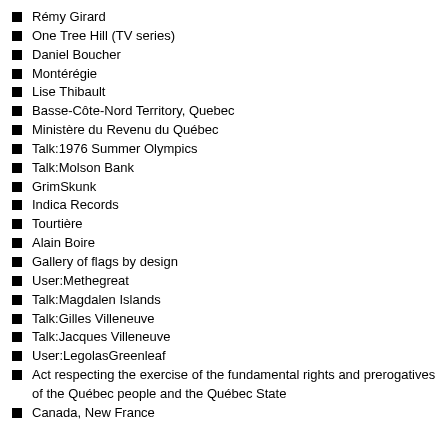Rémy Girard
One Tree Hill (TV series)
Daniel Boucher
Montérégie
Lise Thibault
Basse-Côte-Nord Territory, Quebec
Ministère du Revenu du Québec
Talk:1976 Summer Olympics
Talk:Molson Bank
GrimSkunk
Indica Records
Tourtière
Alain Boire
Gallery of flags by design
User:Methegreat
Talk:Magdalen Islands
Talk:Gilles Villeneuve
Talk:Jacques Villeneuve
User:LegolasGreenleaf
Act respecting the exercise of the fundamental rights and prerogatives of the Québec people and the Québec State
Canada, New France